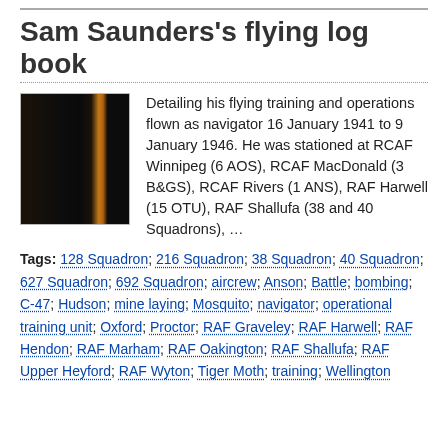Sam Saunders's flying log book
[Figure (photo): Thumbnail image of a dark-covered flying log book]
Detailing his flying training and operations flown as navigator 16 January 1941 to 9 January 1946. He was stationed at RCAF Winnipeg (6 AOS), RCAF MacDonald (3 B&GS), RCAF Rivers (1 ANS), RAF Harwell (15 OTU), RAF Shallufa (38 and 40 Squadrons), …
Tags: 128 Squadron; 216 Squadron; 38 Squadron; 40 Squadron; 627 Squadron; 692 Squadron; aircrew; Anson; Battle; bombing; C-47; Hudson; mine laying; Mosquito; navigator; operational training unit; Oxford; Proctor; RAF Graveley; RAF Harwell; RAF Hendon; RAF Marham; RAF Oakington; RAF Shallufa; RAF Upper Heyford; RAF Wyton; Tiger Moth; training; Wellington